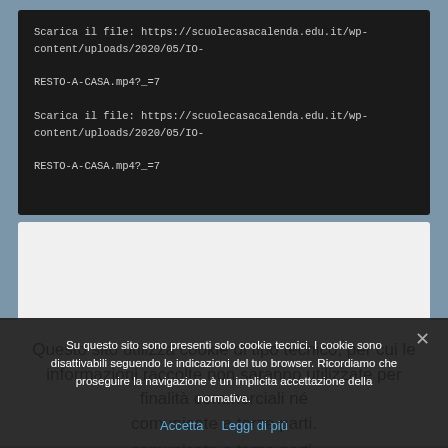Scarica il file: https://scuolecasacalenda.edu.it/wp-content/uploads/2020/05/IO-RESTO-A-CASA.mp4?_=7
Scarica il file: https://scuolecasacalenda.edu.it/wp-content/uploads/2020/05/IO-RESTO-A-CASA.mp4?_=7
Questo sito utilizza cookie di tipo tecnico, per cui le informazioni raccolte non saranno utilizzate per finalità commerciali né comunicate a terze parti.
Su questo sito sono presenti solo cookie tecnici. I cookie sono disattivabili seguendo le indicazioni del tuo browser. Ricordiamo che proseguire la navigazione è un implicita accettazione della normativa.
Accetta  Leggi di più